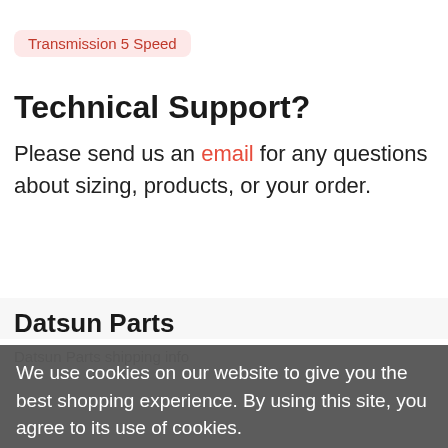Transmission 5 Speed
Technical Support?
Please send us an email for any questions about sizing, products, or your order.
Datsun Parts
We use cookies on our website to give you the best shopping experience. By using this site, you agree to its use of cookies.
Charitable Giving
Gallery of Fine Cars
Yes, I agree